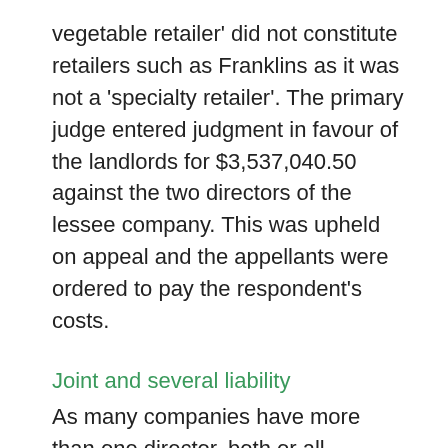vegetable retailer' did not constitute retailers such as Franklins as it was not a 'specialty retailer'. The primary judge entered judgment in favour of the landlords for $3,537,040.50 against the two directors of the lessee company. This was upheld on appeal and the appellants were ordered to pay the respondent's costs.
Joint and several liability
As many companies have more than one director, both or all directors are usually required to guarantee the company's performance of a contract with a third party. In such cases, it is important to understand that the third party will be able to call upon either one or all of the joint guarantors for the